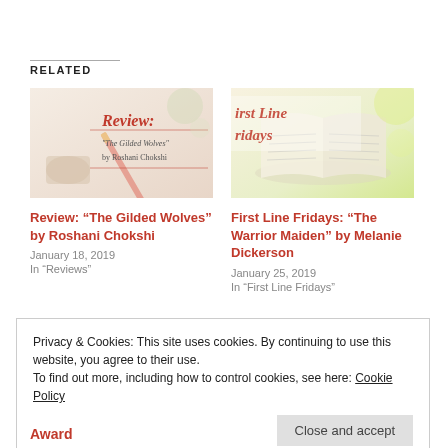RELATED
[Figure (photo): Book review image with text 'Review: The Gilded Wolves by Roshani Chokshi' on a soft background with pencil]
Review: “The Gilded Wolves” by Roshani Chokshi
January 18, 2019
In “Reviews”
[Figure (photo): First Line Fridays image showing open book pages with text 'First Line Fridays']
First Line Fridays: “The Warrior Maiden” by Melanie Dickerson
January 25, 2019
In “First Line Fridays”
Privacy & Cookies: This site uses cookies. By continuing to use this website, you agree to their use.
To find out more, including how to control cookies, see here: Cookie Policy
Close and accept
Award